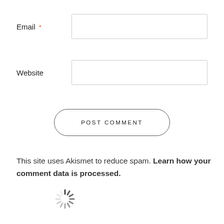Email *
Website
POST COMMENT
This site uses Akismet to reduce spam. Learn how your comment data is processed.
[Figure (illustration): Loading spinner icon]